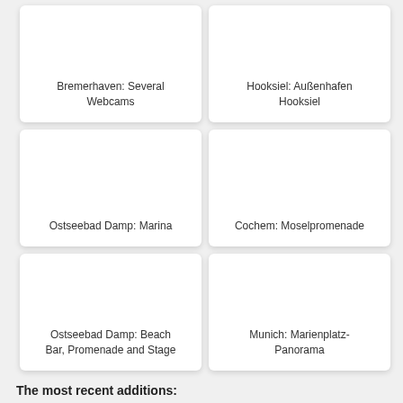[Figure (screenshot): Webcam thumbnail card for Bremerhaven: Several Webcams]
[Figure (screenshot): Webcam thumbnail card for Hooksiel: Außenhafen Hooksiel]
[Figure (screenshot): Webcam thumbnail card for Ostseebad Damp: Marina]
[Figure (screenshot): Webcam thumbnail card for Cochem: Moselpromenade]
[Figure (screenshot): Webcam thumbnail card for Ostseebad Damp: Beach Bar, Promenade and Stage]
[Figure (screenshot): Webcam thumbnail card for Munich: Marienplatz-Panorama]
The most recent additions: